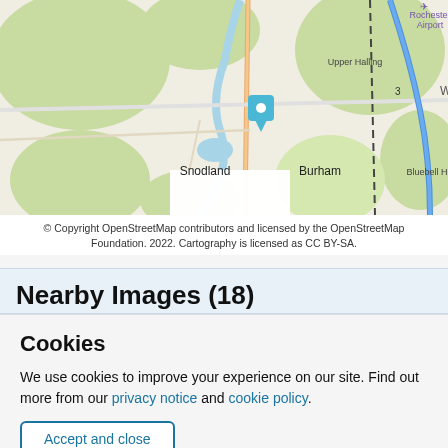[Figure (map): OpenStreetMap showing Snodland area in Kent, UK. Visible locations include Halling, Upper Halling, Wouldham, Rochester Airport, Bluebell Hill, Burham, and Snodland. A blue location pin marker is visible near the center of the map.]
© Copyright OpenStreetMap contributors and licensed by the OpenStreetMap Foundation. 2022. Cartography is licensed as CC BY-SA.
Nearby Images (18)
Cookies
We use cookies to improve your experience on our site. Find out more from our privacy notice and cookie policy.